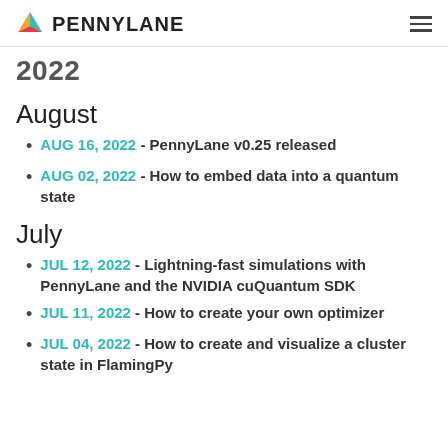PENNYLANE
2022
August
AUG 16, 2022 - PennyLane v0.25 released
AUG 02, 2022 - How to embed data into a quantum state
July
JUL 12, 2022 - Lightning-fast simulations with PennyLane and the NVIDIA cuQuantum SDK
JUL 11, 2022 - How to create your own optimizer
JUL 04, 2022 - How to create and visualize a cluster state in FlamingPy